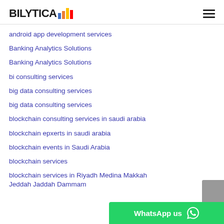BILYTICA
android app development services
Banking Analytics Solutions
Banking Analytics Solutions
bi consulting services
big data consulting services
big data consulting services
blockchain consulting services in saudi arabia
blockchain epxerts in saudi arabia
blockchain events in Saudi Arabia
blockchain services
blockchain services in Riyadh Medina Makkah Jeddah Jaddah Dammam